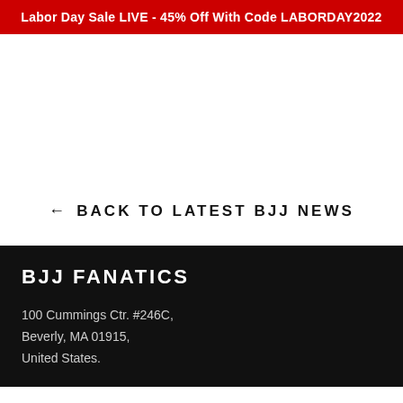Labor Day Sale LIVE - 45% Off With Code LABORDAY2022
← BACK TO LATEST BJJ NEWS
BJJ FANATICS
100 Cummings Ctr. #246C, Beverly, MA 01915, United States.